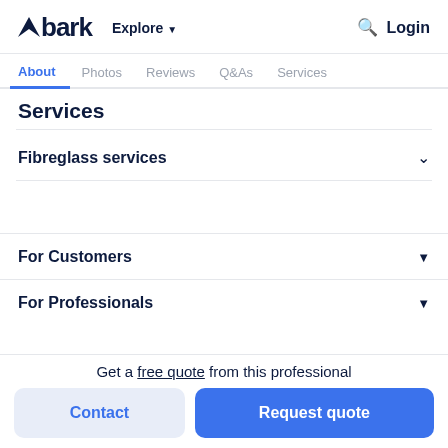bark  Explore  Login
About  Photos  Reviews  Q&As  Services
Services
Fibreglass services
For Customers
For Professionals
Get a free quote from this professional
Contact
Request quote